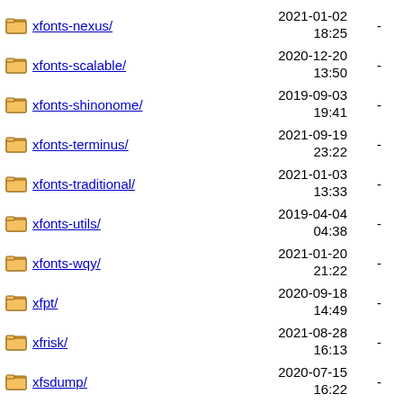xfonts-nexus/ 2021-01-02 18:25 -
xfonts-scalable/ 2020-12-20 13:50 -
xfonts-shinonome/ 2019-09-03 19:41 -
xfonts-terminus/ 2021-09-19 23:22 -
xfonts-traditional/ 2021-01-03 13:33 -
xfonts-utils/ 2019-04-04 04:38 -
xfonts-wqy/ 2021-01-20 21:22 -
xfpt/ 2020-09-18 14:49 -
xfrisk/ 2021-08-28 16:13 -
xfsdump/ 2020-07-15 16:22 -
xfsprogs/ 2021-08-26 10:15 -